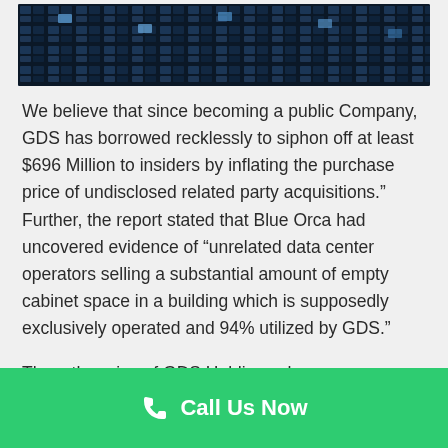[Figure (photo): Nighttime photo of a data center or office building with blue-lit windows and glass facades]
We believe that since becoming a public Company, GDS has borrowed recklessly to siphon off at least $696 Million to insiders by inflating the purchase price of undisclosed related party acquisitions.” Further, the report stated that Blue Orca had uncovered evidence of “unrelated data center operators selling a substantial amount of empty cabinet space in a building which is supposedly exclusively operated and 94% utilized by GDS.”
Then, the price of GDS Holdings shares plummeted. Peiffer Wolf Carr Kane & Conway’s
[Figure (other): Green call-to-action bar with phone icon and text 'Call Us Now']